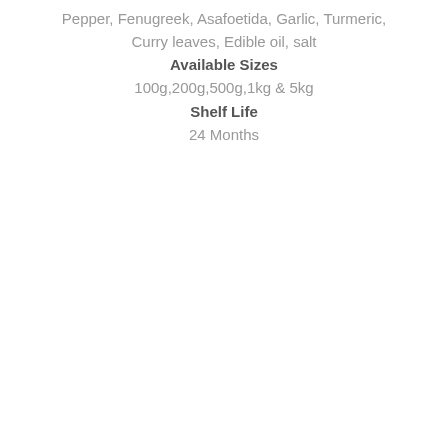Pepper, Fenugreek, Asafoetida, Garlic, Turmeric, Curry leaves, Edible oil, salt
Available Sizes
100g,200g,500g,1kg & 5kg
Shelf Life
24 Months